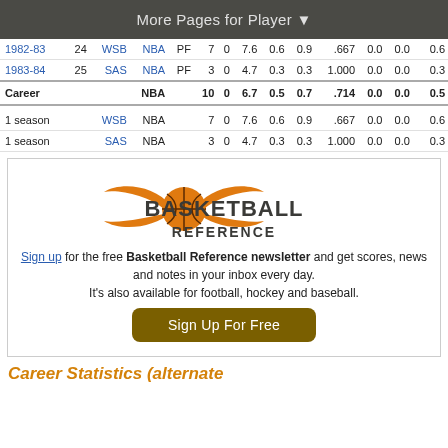More Pages for Player ▼
| Season | Age | Tm | Lg | Pos | G | GS | MP | FG% | FT% | FG% | FT% | blk | pts |
| --- | --- | --- | --- | --- | --- | --- | --- | --- | --- | --- | --- | --- | --- |
| 1982-83 | 24 | WSB | NBA | PF | 7 | 0 | 7.6 | 0.6 | 0.9 | .667 | 0.0 | 0.0 | 0.6 |
| 1983-84 | 25 | SAS | NBA | PF | 3 | 0 | 4.7 | 0.3 | 0.3 | 1.000 | 0.0 | 0.0 | 0.3 |
| Career |  |  | NBA |  | 10 | 0 | 6.7 | 0.5 | 0.7 | .714 | 0.0 | 0.0 | 0.5 |
| 1 season |  | WSB | NBA |  | 7 | 0 | 7.6 | 0.6 | 0.9 | .667 | 0.0 | 0.0 | 0.6 |
| 1 season |  | SAS | NBA |  | 3 | 0 | 4.7 | 0.3 | 0.3 | 1.000 | 0.0 | 0.0 | 0.3 |
[Figure (logo): Basketball Reference logo — orange basketball with wings icon and dark gray BASKETBALL REFERENCE text]
Sign up for the free Basketball Reference newsletter and get scores, news and notes in your inbox every day. It's also available for football, hockey and baseball.
Sign Up For Free